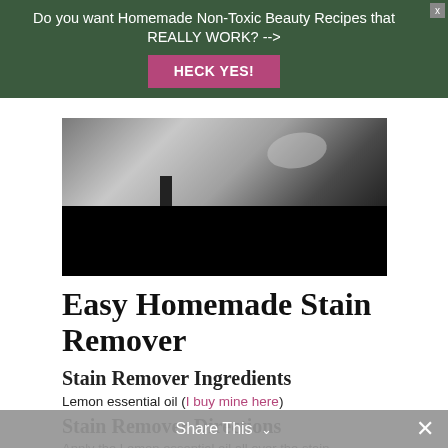[Figure (screenshot): Dark green advertisement banner with white text reading 'Do you want Homemade Non-Toxic Beauty Recipes that REALLY WORK? -->' and a pink 'HECK YES!' button. An X close button is in the top right corner.]
[Figure (photo): Video thumbnail showing hands near a dark bowl, partially obscured by black rectangle at bottom.]
Easy Homemade Stain Remover
Stain Remover Ingredients
Lemon essential oil (I buy mine here)
Stain Remover Directions
Apply the Lemon essential oil all over the stain
Share This ∨  ×